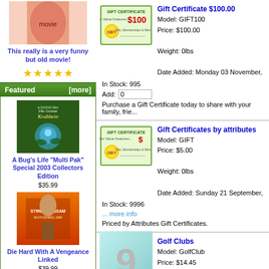This really is a very funny but old movie!
[Figure (illustration): 5 gold star rating]
Featured  [more]
[Figure (photo): A Bug's Life movie cover - Grosse Krabbeln]
A Bug's Life "Multi Pak" Special 2003 Collectors Edition
$35.99
[Figure (photo): Die Hard With A Vengeance movie cover - Stirb Langsam]
Die Hard With A Vengeance Linked
$39.99
Information
Gift Certificate $100.00
Model: GIFT100
Price: $100.00
Weight: 0lbs
Date Added: Monday 03 November,
In Stock: 995
Add: 0
Purchase a Gift Certificate today to share with your family, frie...
Gift Certificates by attributes
Model: GIFT
Price: $5.00
Weight: 0lbs
Date Added: Sunday 21 September,
In Stock: 9996
... more info
Priced by Attributes Gift Certificates.
Golf Clubs
Model: GolfClub
Price: $14.45
Weight: 1lbs
Date Added: Sunday 02 May, 2004
In Stock: 997